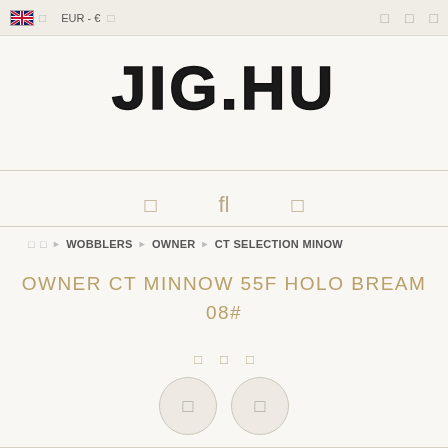EUR - € [navigation icons]
[Figure (logo): JIG.HU logo in distressed bold black typeface]
Navigation icons row (menu, filters, cart)
Breadcrumb: Home > WOBBLERS > OWNER > CT SELECTION MINOW
OWNER CT MINNOW 55F HOLO BREAM 08#
Social sharing icons
Action buttons (cart, wishlist)